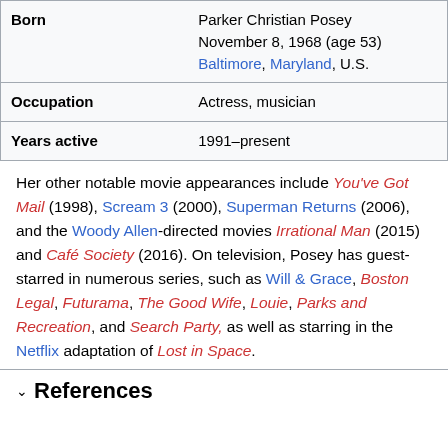|  |  |
| --- | --- |
| Born | Parker Christian Posey
November 8, 1968 (age 53)
Baltimore, Maryland, U.S. |
| Occupation | Actress, musician |
| Years active | 1991–present |
Her other notable movie appearances include You've Got Mail (1998), Scream 3 (2000), Superman Returns (2006), and the Woody Allen-directed movies Irrational Man (2015) and Café Society (2016). On television, Posey has guest-starred in numerous series, such as Will & Grace, Boston Legal, Futurama, The Good Wife, Louie, Parks and Recreation, and Search Party, as well as starring in the Netflix adaptation of Lost in Space.
References